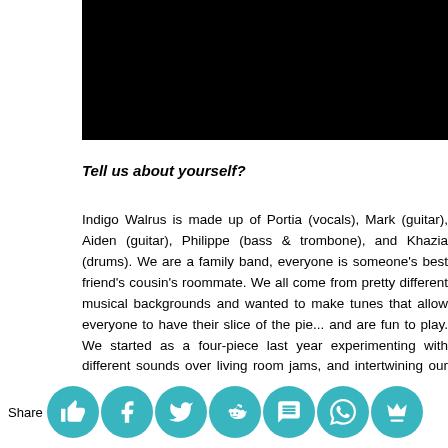[Figure (photo): Black rectangle image at top of page, partially cropped]
Tell us about yourself?
Indigo Walrus is made up of Portia (vocals), Mark (guitar), Aiden (guitar), Philippe (bass & trombone), and Khazia (drums). We are a family band, everyone is someone's best friend's cousin's roommate. We all come from pretty different musical backgrounds and wanted to make tunes that allow everyone to have their slice of the pie... and are fun to play. We started as a four-piece last year experimenting with different sounds over living room jams, and intertwining our wide range of influences. It became clear that Aiden was the missing piece to tie it all together. We never pressured Philippe into dusting off his...
Share [social media icons: thumbs up, Facebook, Twitter, Reddit, SMS, WhatsApp, crown]